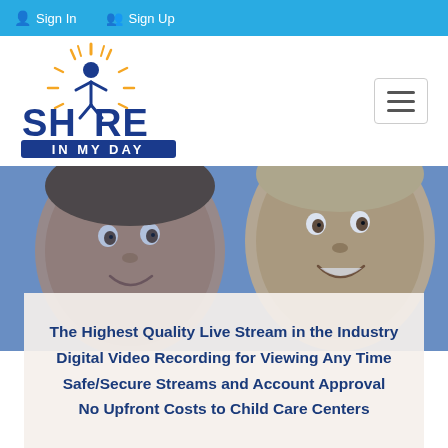Sign In   Sign Up
[Figure (logo): Share In My Day logo — colorful figure with sunburst above, blue text 'SHARE IN MY DAY']
[Figure (photo): Two smiling children photographed from below against a light blue sky, faces filling the frame, image overlaid with blue tint]
The Highest Quality Live Stream in the Industry
Digital Video Recording for Viewing Any Time
Safe/Secure Streams and Account Approval
No Upfront Costs to Child Care Centers